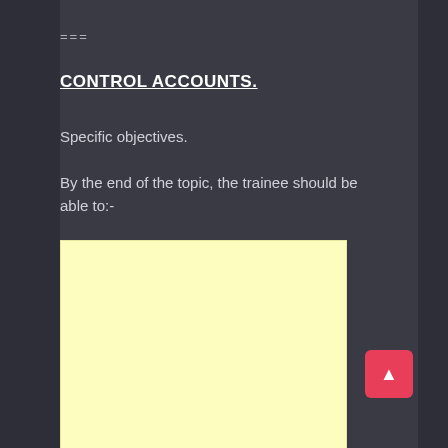===
CONTROL ACCOUNTS.
Specific objectives.
By the end of the topic, the trainee should be able to:-
[Figure (other): Empty yellow/cream colored box, likely a notes or content area placeholder]